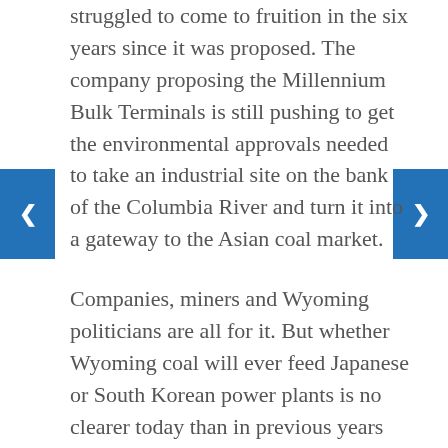struggled to come to fruition in the six years since it was proposed. The company proposing the Millennium Bulk Terminals is still pushing to get the environmental approvals needed to take an industrial site on the bank of the Columbia River and turn it into a gateway to the Asian coal market.
Companies, miners and Wyoming politicians are all for it. But whether Wyoming coal will ever feed Japanese or South Korean power plants is no clearer today than in previous years with or without a Washington port. As coal economics become more difficult, and hopes increase for a solution, some